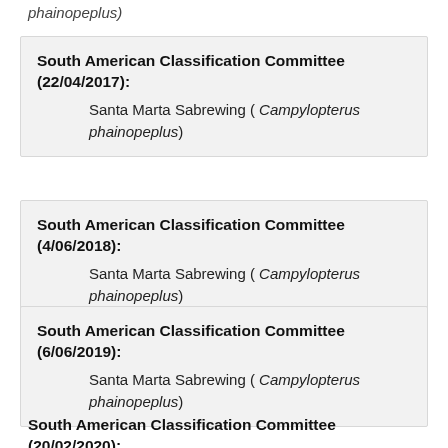phainopeplus)
South American Classification Committee (22/04/2017):
Santa Marta Sabrewing ( Campylopterus phainopeplus)
South American Classification Committee (4/06/2018):
Santa Marta Sabrewing ( Campylopterus phainopeplus)
South American Classification Committee (6/06/2019):
Santa Marta Sabrewing ( Campylopterus phainopeplus)
South American Classification Committee (20/02/2020):